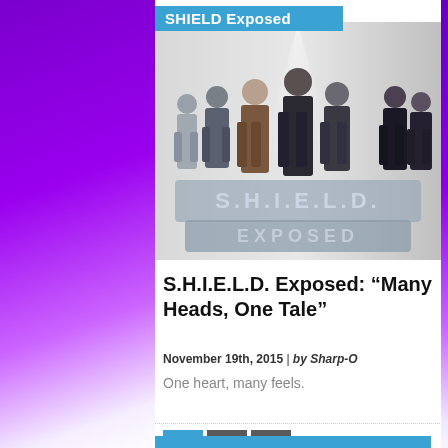SHIELD Exposed
[Figure (photo): Promotional image for S.H.I.E.L.D. Exposed showing cast members standing in dark outfits with large stylized S.H.I.E.L.D. EXPOSED text logo below them on a light grey background.]
S.H.I.E.L.D. Exposed: “Many Heads, One Tale”
November 19th, 2015 | by Sharp-O
One heart, many feels.
1 2 3